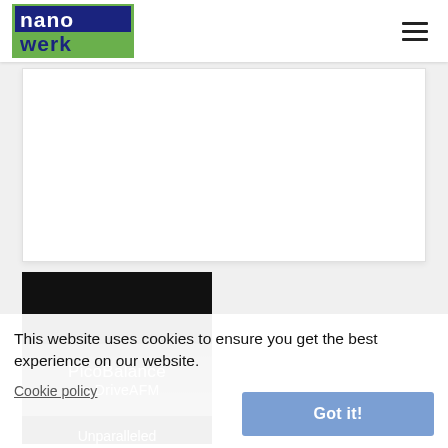[Figure (logo): Nanowerk logo with blue text on dark blue background for 'nano' and green background for 'werk']
[Figure (illustration): PicoBalance on DriveAFM product image with black background and overlay text showing 'PicoBalance on DriveAFM' and 'Unparalleled sub-picogram']
This website uses cookies to ensure you get the best experience on our website.
Cookie policy
Got it!